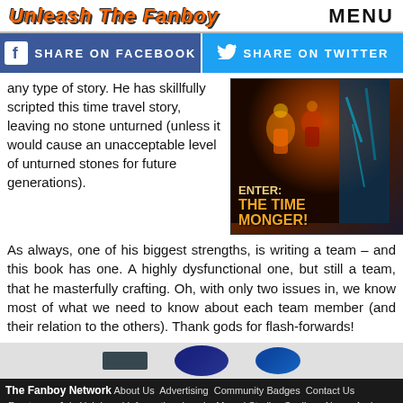Unleash The Fanboy | MENU
[Figure (other): Share on Facebook and Share on Twitter social sharing buttons bar]
any type of story. He has skillfully scripted this time travel story, leaving no stone unturned (unless it would cause an unacceptable level of unturned stones for future generations).
[Figure (illustration): Comic book cover for 'Enter: The Time Monger!' showing figures on an orange/dark background]
As always, one of his biggest strengths, is writing a team – and this book has one. A highly dysfunctional one, but still a team, that he masterfully crafting. Oh, with only two issues in, we know most of what we need to know about each team member (and their relation to the others). Thank gods for flash-forwards!
[Figure (photo): Partial images at bottom of page — dark oval/rounded objects]
The Fanboy Network About Us Advertising Community Badges Contact Us Frontpage Join Us! Legal Information Levels Marvel Studios Spoilers, News, And More Our Staff Quest Badges Quests Contact Info Game Reviews